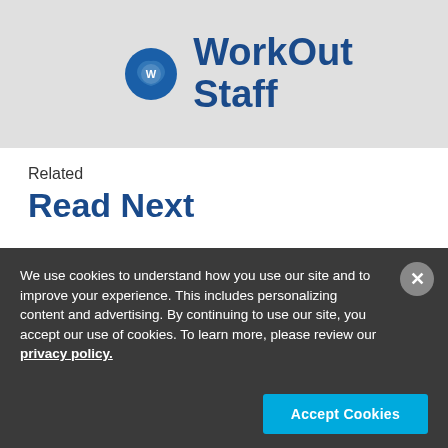[Figure (logo): WorkOut Staff logo with blue circle icon and text 'WorkOut Staff' in dark blue]
Related
Read Next
We use cookies to understand how you use our site and to improve your experience. This includes personalizing content and advertising. By continuing to use our site, you accept our use of cookies. To learn more, please review our privacy policy.